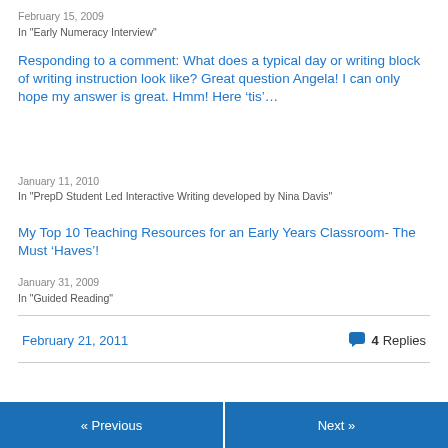February 15, 2009
In "Early Numeracy Interview"
Responding to a comment: What does a typical day or writing block of writing instruction look like? Great question Angela! I can only hope my answer is great. Hmm! Here ‘tis’…
January 11, 2010
In "PrepD Student Led Interactive Writing developed by Nina Davis"
My Top 10 Teaching Resources for an Early Years Classroom- The Must ‘Haves’!
January 31, 2009
In "Guided Reading"
February 21, 2011
4 Replies
« Previous   Next »